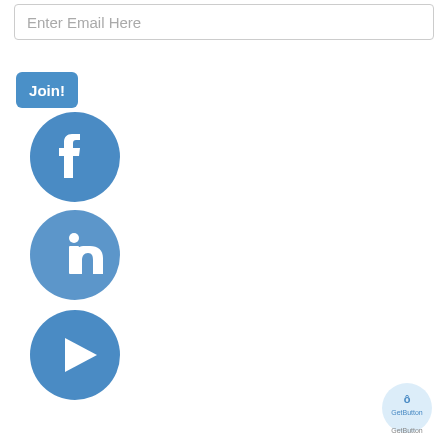Enter Email Here
Join!
[Figure (logo): Facebook social media circular icon - blue circle with white 'f' letter]
[Figure (logo): LinkedIn social media circular icon - blue circle with white 'in' text]
[Figure (logo): Video/play button circular icon - blue circle with white play triangle]
[Figure (logo): GetButton.io small watermark logo in bottom right corner]